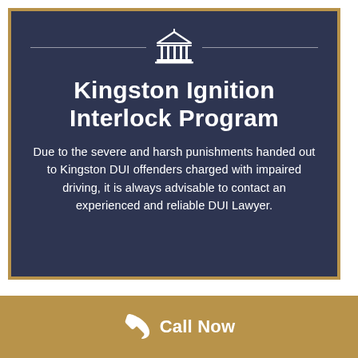[Figure (illustration): Courthouse / government building icon with horizontal lines on each side, white outline on dark blue background]
Kingston Ignition Interlock Program
Due to the severe and harsh punishments handed out to Kingston DUI offenders charged with impaired driving, it is always advisable to contact an experienced and reliable DUI Lawyer.
[Figure (illustration): Phone handset icon with 'Call Now' text on a tan/gold footer bar]